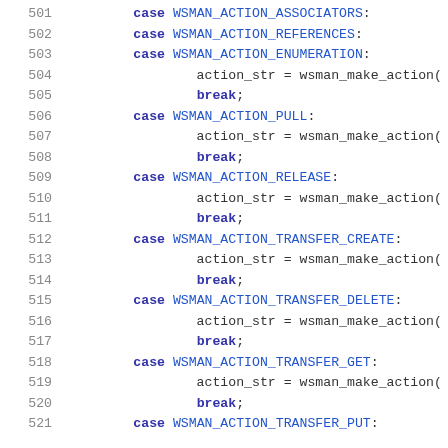Source code listing, lines 501-521, showing C switch-case statements for WSMAN action handling
501    case WSMAN_ACTION_ASSOCIATORS:
502    case WSMAN_ACTION_REFERENCES:
503    case WSMAN_ACTION_ENUMERATION:
504        action_str = wsman_make_action(
505        break;
506    case WSMAN_ACTION_PULL:
507        action_str = wsman_make_action(
508        break;
509    case WSMAN_ACTION_RELEASE:
510        action_str = wsman_make_action(
511        break;
512    case WSMAN_ACTION_TRANSFER_CREATE:
513        action_str = wsman_make_action(
514        break;
515    case WSMAN_ACTION_TRANSFER_DELETE:
516        action_str = wsman_make_action(
517        break;
518    case WSMAN_ACTION_TRANSFER_GET:
519        action_str = wsman_make_action(
520        break;
521    case WSMAN_ACTION_TRANSFER_PUT: